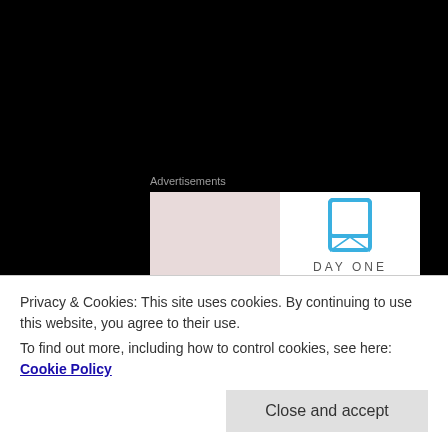[Figure (screenshot): Advertisement banner with pink/beige left half and white right half showing a bookmark icon (blue) and partial text 'DAY ONE']
Advertisements
Some fans have given up on the NHL and say that they will not return to the game should it return this season or not until next. All I know…all I want for Christmas is to see my Canucks and 29 other teams back on the ice. Regardless of when the NHL returns…I will be still be a
Privacy & Cookies: This site uses cookies. By continuing to use this website, you agree to their use.
To find out more, including how to control cookies, see here: Cookie Policy
Close and accept
maybe some of you can't stand them…but I think they are